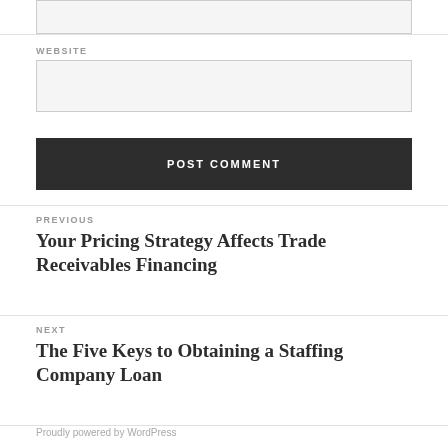WEBSITE
POST COMMENT
PREVIOUS
Your Pricing Strategy Affects Trade Receivables Financing
NEXT
The Five Keys to Obtaining a Staffing Company Loan
Proudly powered by WordPress